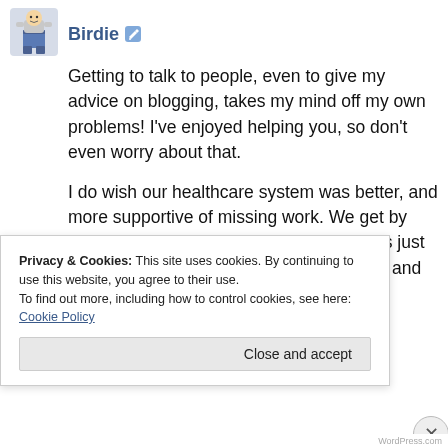[Figure (illustration): Small avatar icon of a cartoon character (jeans/denim themed figure)]
Birdie
Getting to talk to people, even to give my advice on blogging, takes my mind off my own problems! I've enjoyed helping you, so don't even worry about that.
I do wish our healthcare system was better, and more supportive of missing work. We get by however we can though. We'll make it. It's just hard to not lose patience with each other, and to stay positive.
Privacy & Cookies: This site uses cookies. By continuing to use this website, you agree to their use.
To find out more, including how to control cookies, see here: Cookie Policy
Close and accept